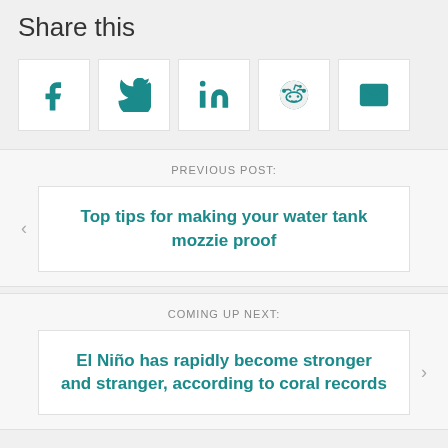Share this
[Figure (infographic): Social sharing icon buttons: Facebook, Twitter, LinkedIn, Reddit, Email]
PREVIOUS POST:
Top tips for making your water tank mozzie proof
COMING UP NEXT:
El Niño has rapidly become stronger and stranger, according to coral records